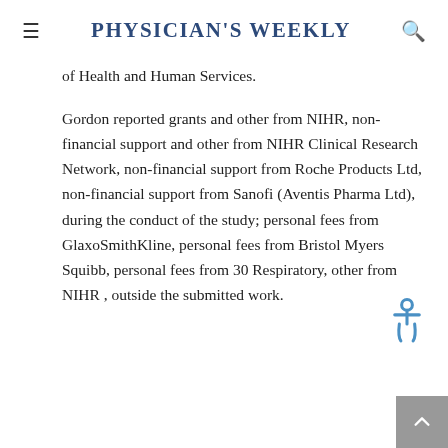Physician's Weekly
of Health and Human Services.
Gordon reported grants and other from NIHR, non-financial support and other from NIHR Clinical Research Network, non-financial support from Roche Products Ltd, non-financial support from Sanofi (Aventis Pharma Ltd), during the conduct of the study; personal fees from GlaxoSmithKline, personal fees from Bristol Myers Squibb, personal fees from 30 Respiratory, other from NIHR , outside the submitted work.